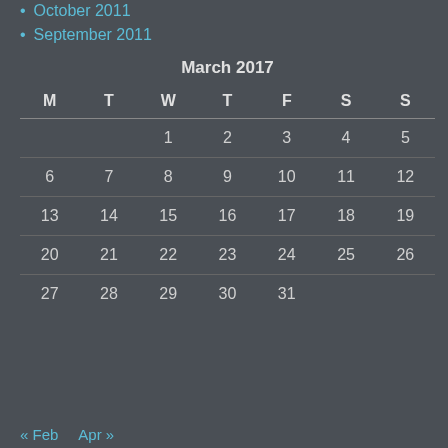October 2011
September 2011
| M | T | W | T | F | S | S |
| --- | --- | --- | --- | --- | --- | --- |
|  |  | 1 | 2 | 3 | 4 | 5 |
| 6 | 7 | 8 | 9 | 10 | 11 | 12 |
| 13 | 14 | 15 | 16 | 17 | 18 | 19 |
| 20 | 21 | 22 | 23 | 24 | 25 | 26 |
| 27 | 28 | 29 | 30 | 31 |  |  |
« Feb   Apr »